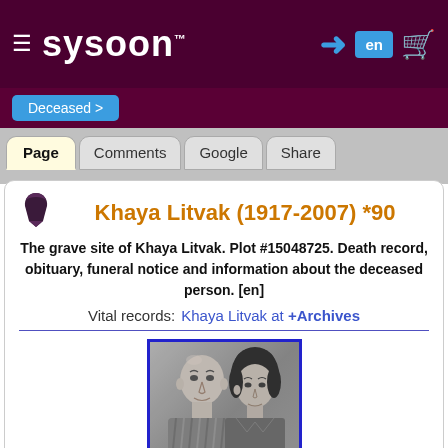sysoon
Deceased >
Page  Comments  Google  Share
Khaya Litvak (1917-2007) *90
The grave site of Khaya Litvak. Plot #15048725. Death record, obituary, funeral notice and information about the deceased person. [en]
Vital records:  Khaya Litvak at +Archives
[Figure (photo): Black and white portrait photo of a bald man and a woman, both adults, shown from the shoulders up against a plain background.]